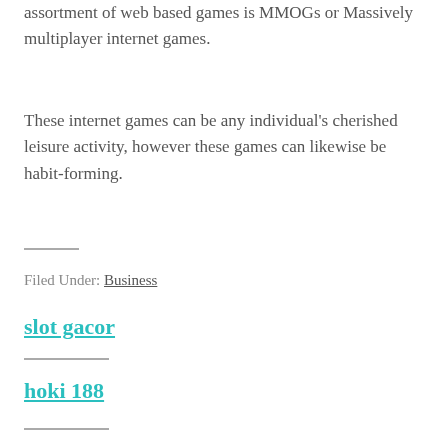assortment of web based games is MMOGs or Massively multiplayer internet games.
These internet games can be any individual's cherished leisure activity, however these games can likewise be habit-forming.
Filed Under: Business
slot gacor
hoki 188